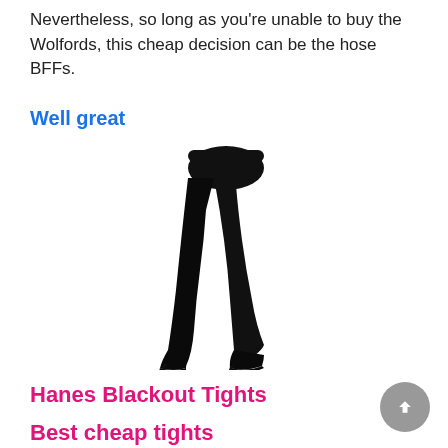Nevertheless, so long as you’re unable to buy the Wolfords, this cheap decision can be the hose BFFs.
Well great
[Figure (photo): Product photo of black opaque tights/hosiery on a model's legs shown from the hips down, wearing high heels, photographed against a white background.]
Hanes Blackout Tights
Best cheap tights